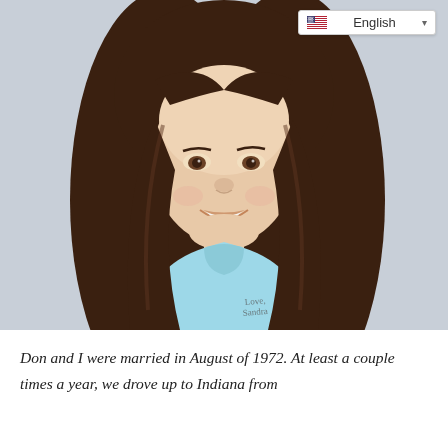[Figure (photo): Portrait photo of a young girl with long brown hair, smiling, wearing a light blue turtleneck sweater. The photo appears to be from the early 1970s era, with a handwritten signature at the bottom.]
Don and I were married in August of 1972. At least a couple times a year, we drove up to Indiana from